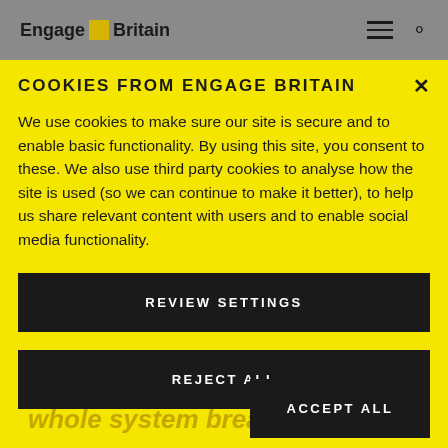Engage Britain
COOKIES FROM ENGAGE BRITAIN
We use cookies to make sure our site is secure and to enable basic functionality. By using this site, you consent to these. We also use third party cookies to analyse how the site is used (so we can continue to make it better), to help us share relevant content with users and to enable social media functionality.
REVIEW SETTINGS
REJECT ALL
ACCEPT ALL
'Without enough diversity in staff it's impossible. The whole system breaks down'